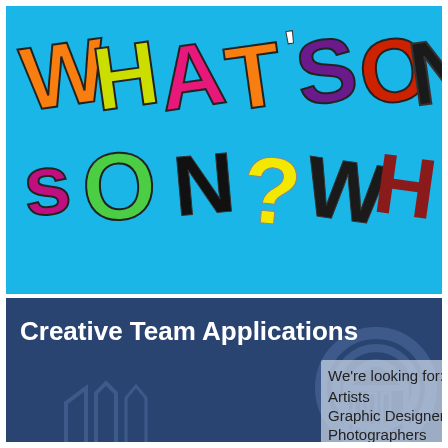[Figure (illustration): Colorful graphic with bold text 'WHAT'S ON?' in multiple colors (orange, yellow, magenta, dark red, purple, black) on a bright blue background, shown at an angle with large letters scattered across the image.]
[Figure (illustration): Dark blue banner with a city building/dome visible in the background. White bold text reads 'Creative Team Applications'. A light-colored semi-transparent box contains text: 'We're looking for: Artists, Graphic Designers, Photographers'.]